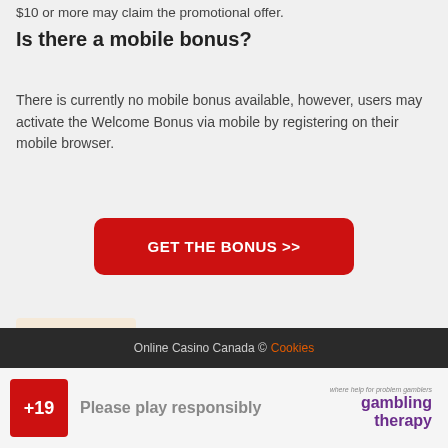$10 or more may claim the promotional offer.
Is there a mobile bonus?
There is currently no mobile bonus available, however, users may activate the Welcome Bonus via mobile by registering on their mobile browser.
[Figure (other): Red button labeled GET THE BONUS >>]
Online Casinos
Online Casino Canada © Cookies
+19  Please play responsibly  gambling therapy